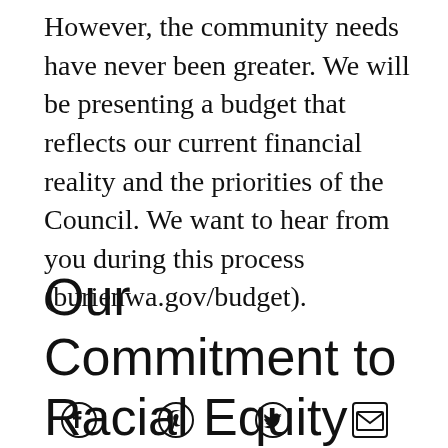However, the community needs have never been greater. We will be presenting a budget that reflects our current financial reality and the priorities of the Council. We want to hear from you during this process (burienwa.gov/budget).
Our Commitment to Racial Equity and Social Justice
[Figure (other): Social media share icons: Facebook, Pinterest, Twitter, Email]